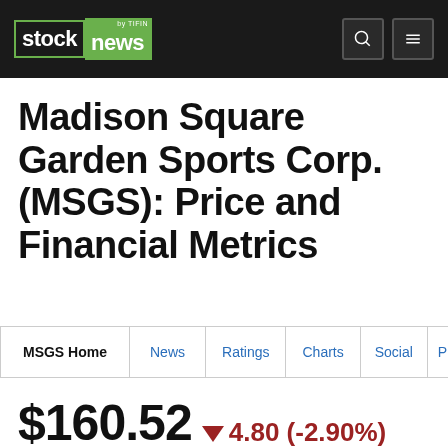stock news by TIFIN
Madison Square Garden Sports Corp. (MSGS): Price and Financial Metrics
MSGS Home
News
Ratings
Charts
Social
Pri
$160.52 ▼4.80 (-2.90%)